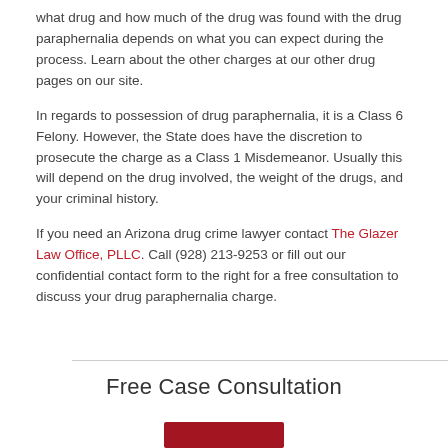what drug and how much of the drug was found with the drug paraphernalia depends on what you can expect during the process. Learn about the other charges at our other drug pages on our site.
In regards to possession of drug paraphernalia, it is a Class 6 Felony. However, the State does have the discretion to prosecute the charge as a Class 1 Misdemeanor. Usually this will depend on the drug involved, the weight of the drugs, and your criminal history.
If you need an Arizona drug crime lawyer contact The Glazer Law Office, PLLC. Call (928) 213-9253 or fill out our confidential contact form to the right for a free consultation to discuss your drug paraphernalia charge.
Free Case Consultation